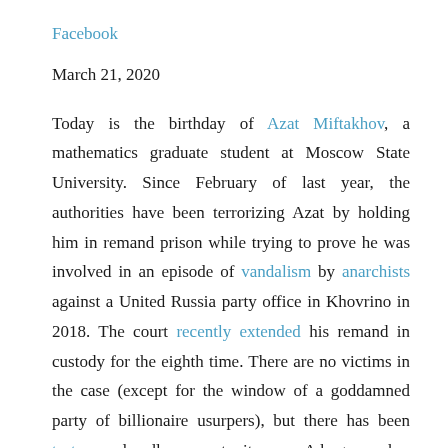Facebook
March 21, 2020
Today is the birthday of Azat Miftakhov, a mathematics graduate student at Moscow State University. Since February of last year, the authorities have been terrorizing Azat by holding him in remand prison while trying to prove he was involved in an episode of vandalism by anarchists against a United Russia party office in Khovrino in 2018. The court recently extended his remand in custody for the eighth time. There are no victims in the case (except for the window of a goddamned party of billionaire usurpers), but there has been torture and endless secret witnesses. A huge number of people have been campaigning in support of Azat all this time.